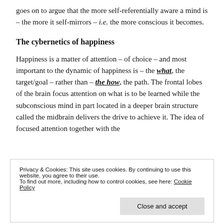goes on to argue that the more self-referentially aware a mind is – the more it self-mirrors – i.e. the more conscious it becomes.
The cybernetics of happiness
Happiness is a matter of attention – of choice – and most important to the dynamic of happiness is – the what, the target/goal – rather than – the how, the path. The frontal lobes of the brain focus attention on what is to be learned while the subconscious mind in part located in a deeper brain structure called the midbrain delivers the drive to achieve it. The idea of focused attention together with the
Privacy & Cookies: This site uses cookies. By continuing to use this website, you agree to their use.
To find out more, including how to control cookies, see here: Cookie Policy
ourselves.